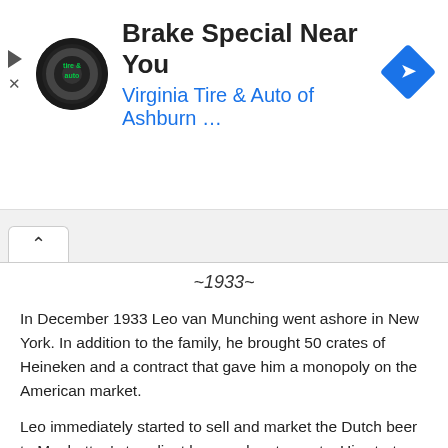[Figure (screenshot): Advertisement banner for Virginia Tire & Auto of Ashburn with logo, headline 'Brake Special Near You', subtitle in blue, and a blue diamond navigation arrow icon. Play and close icons on left side.]
~1933~
In December 1933 Leo van Munching went ashore in New York. In addition to the family, he brought 50 crates of Heineken and a contract that gave him a monopoly on the American market.
Leo immediately started to sell and market the Dutch beer to Manhattan's trendiest bars and restaurants. His strategy was to promote Heineken as the beer answers to champagne. If you were out of champagne you could always order a Heineken.
One of his most famous sales plays was to go into restaurants loudly ordering a Heineken then become even more loud and shocked when the so-called fine establishment did not sell the best premium beer in the world". Shortly thereafter one of his